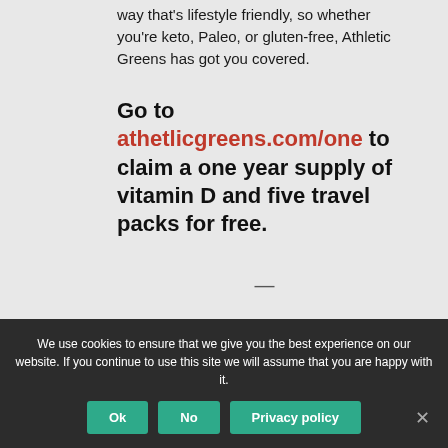way that's lifestyle friendly, so whether you're keto, Paleo, or gluten-free, Athletic Greens has got you covered.
Go to athetlicgreens.com/one to claim a one year supply of vitamin D and five travel packs for free.
—
Links & Tools from This Episode
We use cookies to ensure that we give you the best experience on our website. If you continue to use this site we will assume that you are happy with it.
Ok | No | Privacy policy